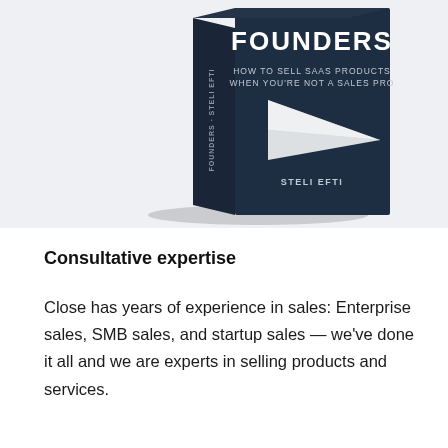[Figure (illustration): 3D book cover titled 'FOUNDERS - HOW TO SELL SAAS PRODUCTS WHEN YOU'RE NOT A SALES PRO' by Steli Efti, dark navy blue cover with a white paper airplane graphic, shown in 3D perspective on a light gray background.]
Consultative expertise
Close has years of experience in sales: Enterprise sales, SMB sales, and startup sales — we've done it all and we are experts in selling products and services.